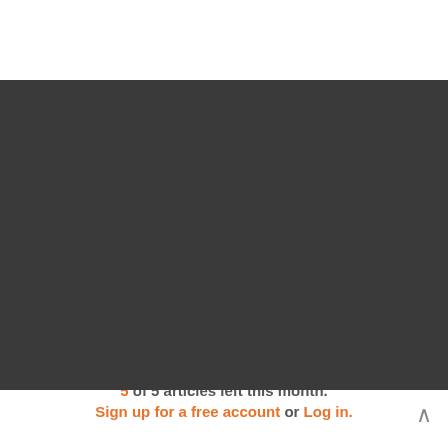[Figure (logo): Inside Higher Ed Careers logo — orange rectangular border, orange background badge with INSIDE HIGHER ED text, green CAREERS text below]
The Key Podcast
Careers
Find a Job
College Pages
Career Advice
Job Alerts
Post a Job
5 of 5 articles left this month.
Sign up for a free account or Log in.